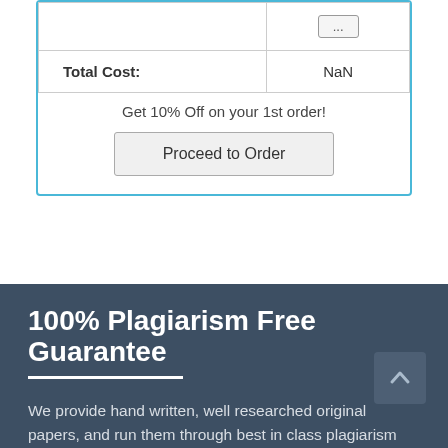|  |  |
| Total Cost: | NaN |
Get 10% Off on your 1st order!
Proceed to Order
100% Plagiarism Free Guarantee
We provide hand written, well researched original papers, and run them through best in class plagiarism detectors to ensure that you receive 100% origin